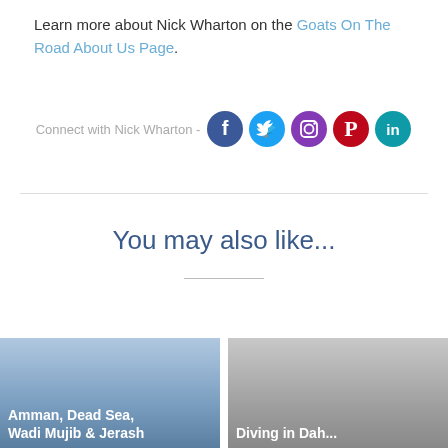Learn more about Nick Wharton on the Goats On The Road About Us Page.
Connect with Nick Wharton -
[Figure (infographic): Social media icons: Facebook (dark blue circle), Twitter (light blue circle), Instagram (purple circle), Pinterest (red circle), LinkedIn (teal circle)]
You may also like...
Amman, Dead Sea, Wadi Mujib & Jerash
Diving in Dah...